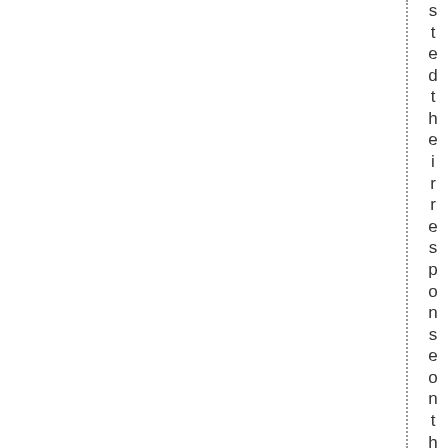stedtheirresponseontheirhomepa